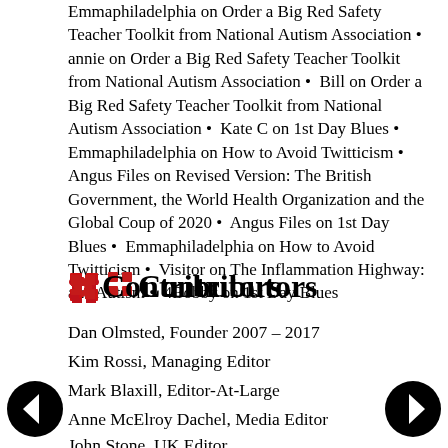Emmaphiladelphia on Order a Big Red Safety Teacher Toolkit from National Autism Association • annie on Order a Big Red Safety Teacher Toolkit from National Autism Association • Bill on Order a Big Red Safety Teacher Toolkit from National Autism Association • Kate C on 1st Day Blues • Emmaphiladelphia on How to Avoid Twitticism • Angus Files on Revised Version: The British Government, the World Health Organization and the Global Coup of 2020 • Angus Files on 1st Day Blues • Emmaphiladelphia on How to Avoid Twitticism • Visitor on The Inflammation Highway: aka Autism • 4Bobby on 1st Day Blues
Contributors
Dan Olmsted, Founder 2007 – 2017
Kim Rossi, Managing Editor
Mark Blaxill, Editor-At-Large
Anne McElroy Dachel, Media Editor
John Stone, UK Editor